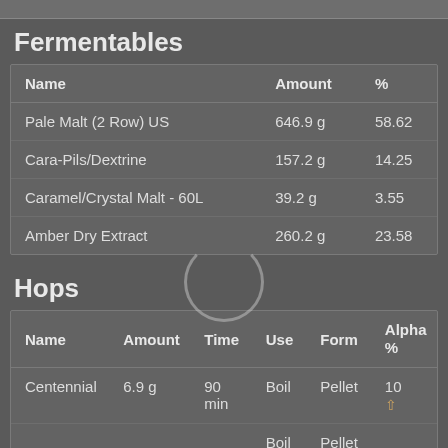Fermentables
| Name | Amount | % |
| --- | --- | --- |
| Pale Malt (2 Row) US | 646.9 g | 58.62 |
| Cara-Pils/Dextrine | 157.2 g | 14.25 |
| Caramel/Crystal Malt - 60L | 39.2 g | 3.55 |
| Amber Dry Extract | 260.2 g | 23.58 |
Hops
| Name | Amount | Time | Use | Form | Alpha % |
| --- | --- | --- | --- | --- | --- |
| Centennial | 6.9 g | 90 min | Boil | Pellet | 10 |
| (partial row) |  |  | Boil | Pellet |  |